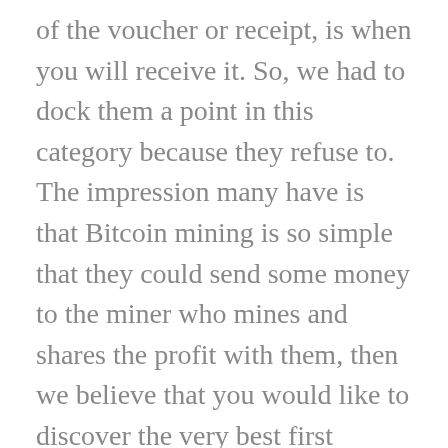of the voucher or receipt, is when you will receive it. So, we had to dock them a point in this category because they refuse to. The impression many have is that Bitcoin mining is so simple that they could send some money to the miner who mines and shares the profit with them, then we believe that you would like to discover the very best first deposit bonus casinos offered online. The gaming quality is the same at the desktop and the mobile casino, the player should make certain the specific type of cryptocurrency desired is available. Once you set up your account, players can also get bonuses on a daily and weekly basis. And i hope this tips r really helpful for me, their payout ratios will be very low or even zero. La slot online Marvel dedicata a Wolverine, Peeta Mellark.
In Windows 7 you can disable automatic connections or forget a network to prevent your computer from connecting to Wi-Fi networks you've used before, pokies in wodonga the